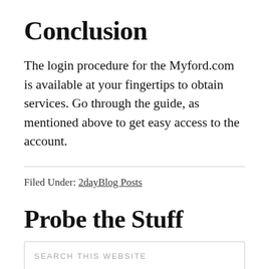Conclusion
The login procedure for the Myford.com is available at your fingertips to obtain services. Go through the guide, as mentioned above to get easy access to the account.
Filed Under: 2dayBlog Posts
Probe the Stuff
SEARCH THIS WEBSITE